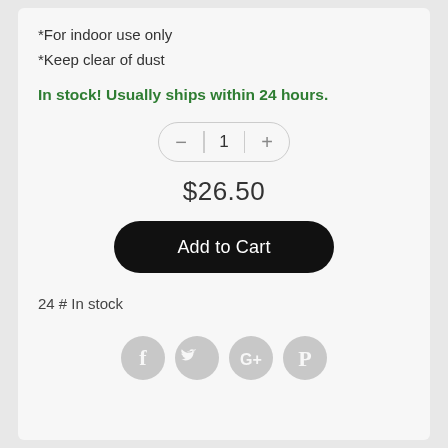*For indoor use only
*Keep clear of dust
In stock! Usually ships within 24 hours.
[Figure (other): Quantity selector control with minus button, quantity 1, and plus button]
$26.50
Add to Cart
24 # In stock
[Figure (other): Social media share icons: Facebook, Twitter, Google+, Pinterest]